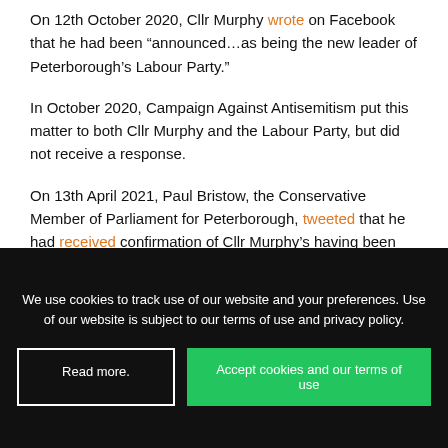On 12th October 2020, Cllr Murphy wrote on Facebook that he had been “announced…as being the new leader of Peterborough’s Labour Party.”
In October 2020, Campaign Against Antisemitism put this matter to both Cllr Murphy and the Labour Party, but did not receive a response.
On 13th April 2021, Paul Bristow, the Conservative Member of Parliament for Peterborough, tweeted that he had received confirmation of Cllr Murphy’s having been suspended by the Labour Party, noting that he was now listed as an independent councillor on the Council’s
We use cookies to track use of our website and your preferences. Use of our website is subject to our terms of use and privacy policy.
Read more.
Accept cookies and our terms of use